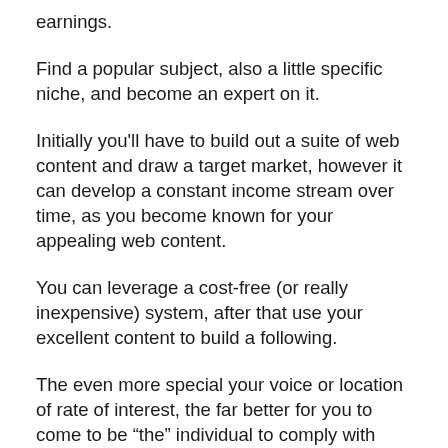earnings.
Find a popular subject, also a little specific niche, and become an expert on it.
Initially you'll have to build out a suite of web content and draw a target market, however it can develop a constant income stream over time, as you become known for your appealing web content.
You can leverage a cost-free (or really inexpensive) system, after that use your excellent content to build a following.
The even more special your voice or location of rate of interest, the far better for you to come to be “the” individual to comply with